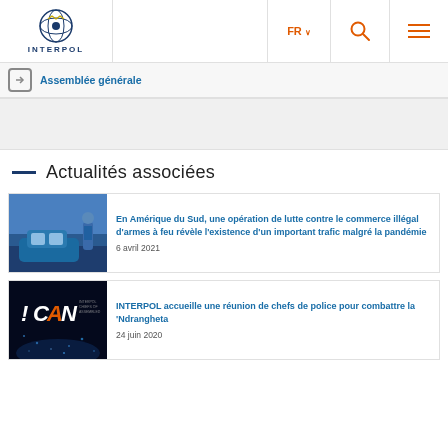INTERPOL — FR — Navigation header
Assemblée générale
Actualités associées
[Figure (photo): Police officer checking a blue car door, South America firearms operation]
En Amérique du Sud, une opération de lutte contre le commerce illégal d'armes à feu révèle l'existence d'un important trafic malgré la pandémie
6 avril 2021
[Figure (photo): ICAN dark background logo image for INTERPOL police chiefs meeting]
INTERPOL accueille une réunion de chefs de police pour combattre la 'Ndrangheta
24 juin 2020